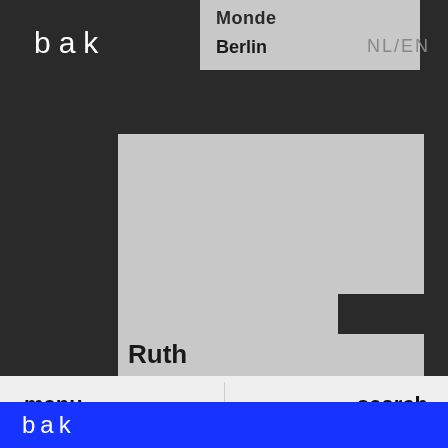bak
Monde
Berlin
NL/EN
[Figure (other): Large light grey card/panel shape with a stepped cutout on the right side, serving as a content card background]
Ruth
Be'
inter
Ster
Vien
menu
search
bak